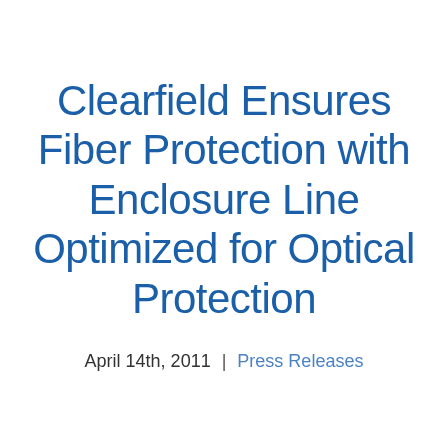Clearfield Ensures Fiber Protection with Enclosure Line Optimized for Optical Protection
April 14th, 2011  |  Press Releases